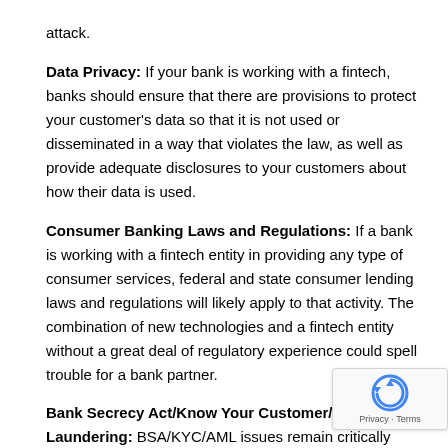attack.
Data Privacy: If your bank is working with a fintech, banks should ensure that there are provisions to protect your customer's data so that it is not used or disseminated in a way that violates the law, as well as provide adequate disclosures to your customers about how their data is used.
Consumer Banking Laws and Regulations: If a bank is working with a fintech entity in providing any type of consumer services, federal and state consumer lending laws and regulations will likely apply to that activity. The combination of new technologies and a fintech entity without a great deal of regulatory experience could spell trouble for a bank partner.
Bank Secrecy Act/Know Your Customer/Anti-Money Laundering: BSA/KYC/AML issues remain critically